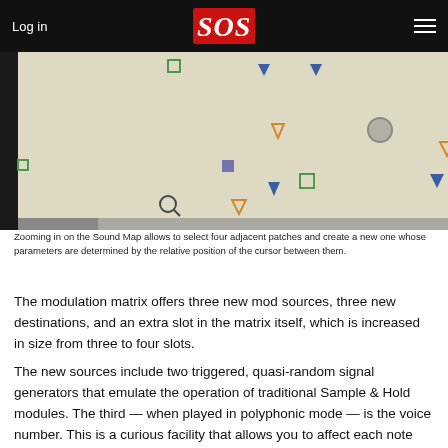Log in | SOS | ☰
[Figure (screenshot): Screenshot of a Sound Map interface showing various colored geometric shapes (triangles, diamonds, circles, squares) scattered on a beige background. Right side shows a panel with categories: Lead, EFX, FM, Brass, Percussive, Sequence, Strings, Guitar, Keyboard.]
Zooming in on the Sound Map allows to select four adjacent patches and create a new one whose parameters are determined by the relative position of the cursor between them.
The modulation matrix offers three new mod sources, three new destinations, and an extra slot in the matrix itself, which is increased in size from three to four slots.
The new sources include two triggered, quasi-random signal generators that emulate the operation of traditional Sample & Hold modules. The third — when played in polyphonic mode — is the voice number. This is a curious facility that allows you to affect each note differently, depending upon whether it was the first you played, the second, the third and so on. Some early multi-keyboards and synths offered a very primitive version of this